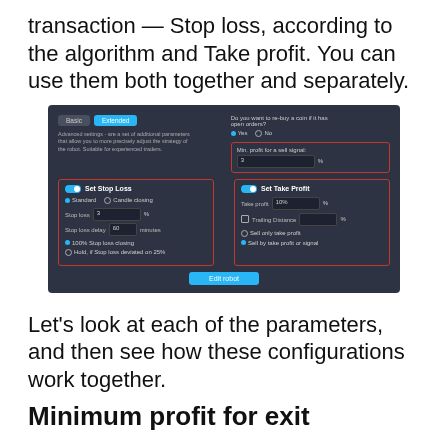transaction — Stop loss, according to the algorithm and Take profit. You can use them both together and separately.
[Figure (screenshot): Dark-themed UI screenshot showing Extended settings panel with Basic/Extended tabs, Stop loss settings box (red border) with Standard/Candle closing options, Stop loss field, Stop loss delay field, 100% Stop loss closing and Hold options; Take Profit box (red border) with Take profit field, Trailing Distance, Sell only take profit and Sell by take profit or signal options; Min. profit for a sell signal field (red border); Do you want to re-buy a coin if it has open orders Yes/No radio; Edit robot button.]
Let's look at each of the parameters, and then see how these configurations work together.
Minimum profit for exit